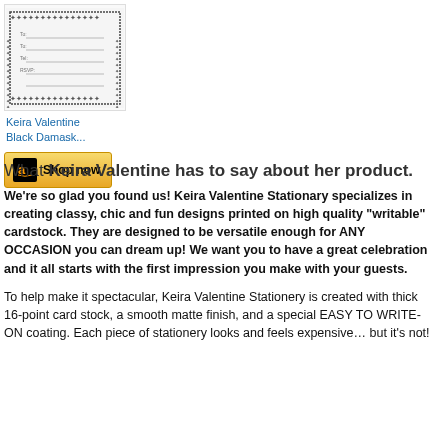[Figure (photo): Product image of Keira Valentine Black Damask stationery card with decorative border pattern and fill-in lines]
Keira Valentine Black Damask...
[Figure (other): Amazon Shop now button with Amazon logo]
What Keira Valentine has to say about her product.
We’re so glad you found us! Keira Valentine Stationary specializes in creating classy, chic and fun designs printed on high quality “writable” cardstock. They are designed to be versatile enough for ANY OCCASION you can dream up! We want you to have a great celebration and it all starts with the first impression you make with your guests.
To help make it spectacular, Keira Valentine Stationery is created with thick 16-point card stock, a smooth matte finish, and a special EASY TO WRITE-ON coating. Each piece of stationery looks and feels expensive… but it’s not!